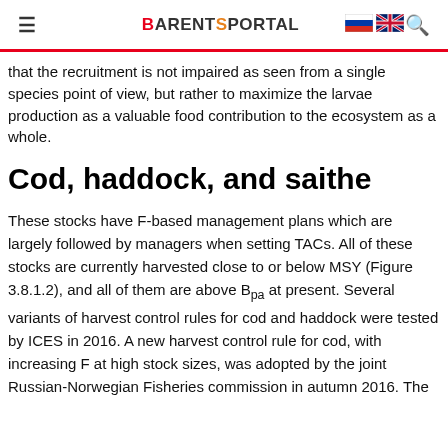BARENTSPORTAL
that the recruitment is not impaired as seen from a single species point of view, but rather to maximize the larvae production as a valuable food contribution to the ecosystem as a whole.
Cod, haddock, and saithe
These stocks have F-based management plans which are largely followed by managers when setting TACs. All of these stocks are currently harvested close to or below MSY (Figure 3.8.1.2), and all of them are above Bpa at present. Several variants of harvest control rules for cod and haddock were tested by ICES in 2016. A new harvest control rule for cod, with increasing F at high stock sizes, was adopted by the joint Russian-Norwegian Fisheries commission in autumn 2016. The